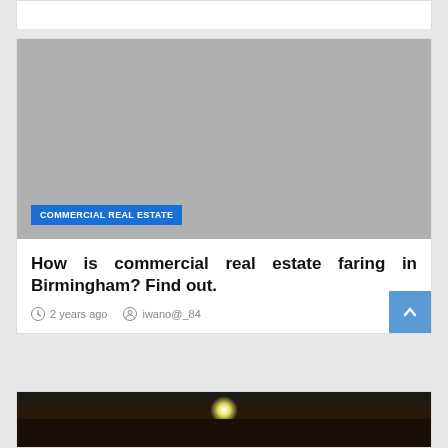[Figure (photo): Gray image placeholder for a commercial real estate article with a blue 'COMMERCIAL REAL ESTATE' category label in the lower left]
How is commercial real estate faring in Birmingham? Find out.
2 years ago   iwano@_84
[Figure (photo): Nighttime exterior photo showing a building with a bright light source]